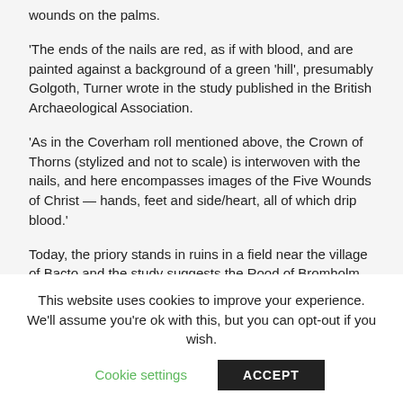wounds on the palms.
‘The ends of the nails are red, as if with blood, and are painted against a background of a green ‘hill’, presumably Golgoth, Turner wrote in the study published in the British Archaeological Association.
‘As in the Coverham roll mentioned above, the Crown of Thorns (stylized and not to scale) is interwoven with the nails, and here encompasses images of the Five Wounds of Christ — hands, feet and side/heart, all of which drip blood.’
Today, the priory stands in ruins in a field near the village of Bacto and the study suggests the Rood of Bromholm may be located in London – according to a letter written in 1537 to Thomas Cromwell by Sir Richard Southwell, a
This website uses cookies to improve your experience. We’ll assume you’re ok with this, but you can opt-out if you wish.
Cookie settings   ACCEPT